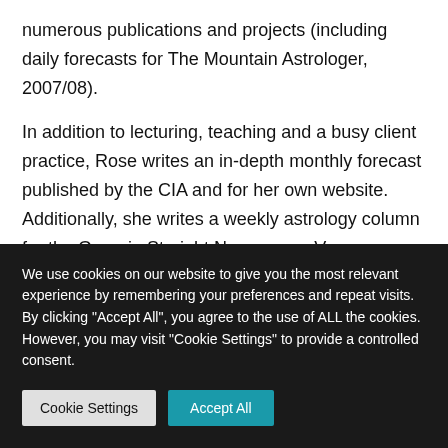numerous publications and projects (including daily forecasts for The Mountain Astrologer, 2007/08).
In addition to lecturing, teaching and a busy client practice, Rose writes an in-depth monthly forecast published by the CIA and for her own website. Additionally, she writes a weekly astrology column for the Georgia Straight Newspaper, Vancouver, B.C., (georgestraight.com/lifestyle). On the last...
We use cookies on our website to give you the most relevant experience by remembering your preferences and repeat visits. By clicking "Accept All", you agree to the use of ALL the cookies. However, you may visit "Cookie Settings" to provide a controlled consent.